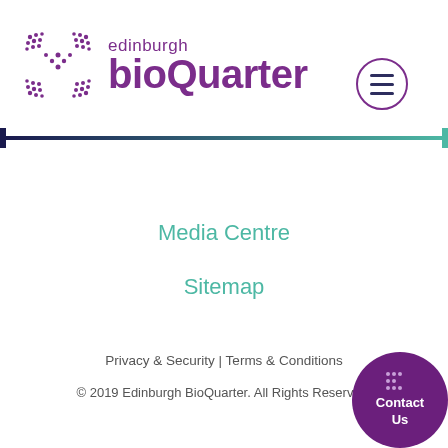[Figure (logo): Edinburgh BioQuarter logo with purple dotted cross/X icon and purple text reading 'edinburgh bioQuarter']
[Figure (other): Hamburger menu button (three horizontal lines) inside a purple circle outline]
[Figure (other): Horizontal gradient divider bar transitioning from dark navy on the left to teal/green on the right, with a vertical dark navy line on the left end]
Media Centre
Sitemap
Privacy & Security | Terms & Conditions
© 2019 Edinburgh BioQuarter. All Rights Reserved.
[Figure (other): Purple circular Contact Us button in bottom-right corner with small dotted icon]